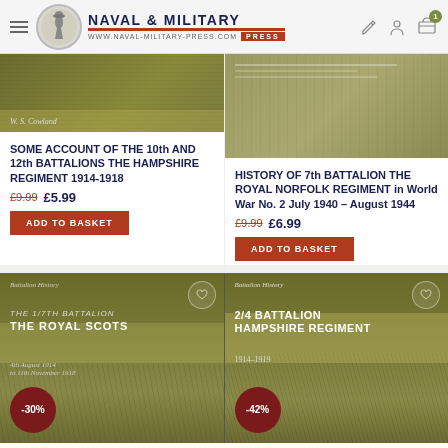[Figure (screenshot): Naval & Military Press website header with logo, hamburger menu, and icons]
[Figure (photo): Book cover for 'Some Account of the 10th and 12th Battalions The Hampshire Regiment 1914-1918' by W.S. Cowland, olive/khaki colored]
SOME ACCOUNT OF THE 10th AND 12th BATTALIONS THE HAMPSHIRE REGIMENT 1914-1918
£9.99  £5.99
ADD TO BASKET
[Figure (photo): Book cover for 'History of 7th Battalion The Royal Norfolk Regiment in World War No. 2 July 1940 – August 1944', olive/khaki colored]
HISTORY OF 7th BATTALION THE ROYAL NORFOLK REGIMENT in World War No. 2 July 1940 – August 1944
£9.99  £6.99
ADD TO BASKET
[Figure (photo): Book cover for 'The 1/7th Battalion The Royal Scots, 4th August 1914 to 11th November 1918', Battalion History series, olive colored with -30% badge]
[Figure (photo): Book cover for '2/4 Battalion Hampshire Regiment 1914-1919', Battalion History series, olive colored with -42% badge]